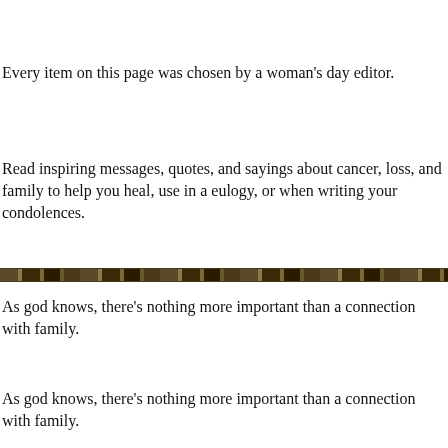Every item on this page was chosen by a woman's day editor.
Read inspiring messages, quotes, and sayings about cancer, loss, and family to help you heal, use in a eulogy, or when writing your condolences.
[Figure (illustration): Decorative horizontal divider bar with a nature/foliage pattern]
As god knows, there’s nothing more important than a connection with family.
As god knows, there’s nothing more important than a connection with family.